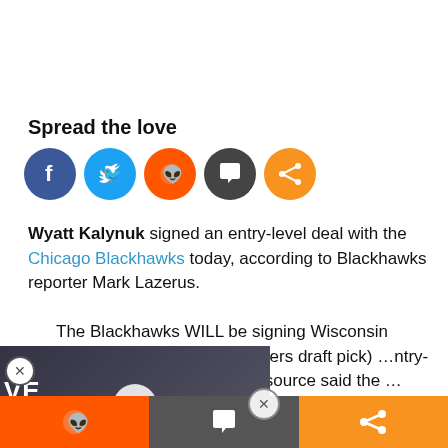Spread the love
[Figure (infographic): Social sharing icons: Facebook (blue), Twitter (light blue), Reddit (orange), Comment (dark gray), Share (orange)]
Wyatt Kalynuk signed an entry-level deal with the Chicago Blackhawks today, according to Blackhawks reporter Mark Lazerus.
The Blackhawks WILL be signing Wisconsin defenseman (and former Flyers draft pick) ...ntry-level deal, per two ...ollege source said the ...reminded him "a bit of
[Figure (screenshot): Embedded video overlay showing hockey player, with VE EARLESS text and play button, News Energy branding]
[Figure (infographic): Bottom sharing bar with Reddit, Comment and Share icons]